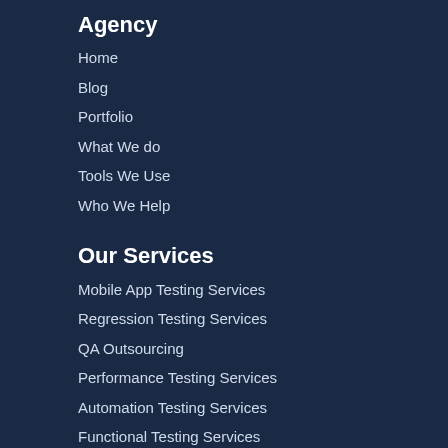Agency
Home
Blog
Portfolio
What We do
Tools We Use
Who We Help
Our Services
Mobile App Testing Services
Regression Testing Services
QA Outsourcing
Performance Testing Services
Automation Testing Services
Functional Testing Services
Our Locations
US Address: